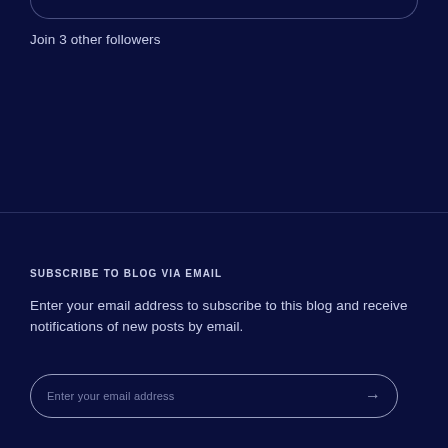Join 3 other followers
SUBSCRIBE TO BLOG VIA EMAIL
Enter your email address to subscribe to this blog and receive notifications of new posts by email.
Enter your email address